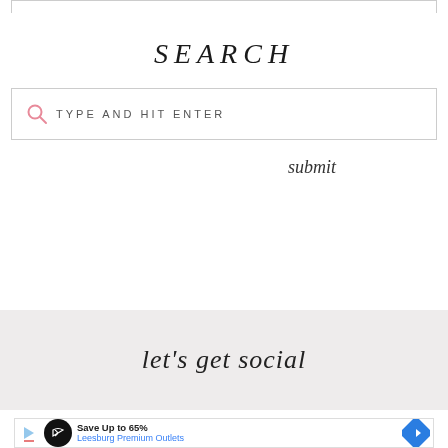SEARCH
[Figure (screenshot): Search input box with pink magnifying glass icon and placeholder text TYPE AND HIT ENTER]
submit
let's get social
[Figure (screenshot): Advertisement banner: Save Up to 65% Leesburg Premium Outlets]